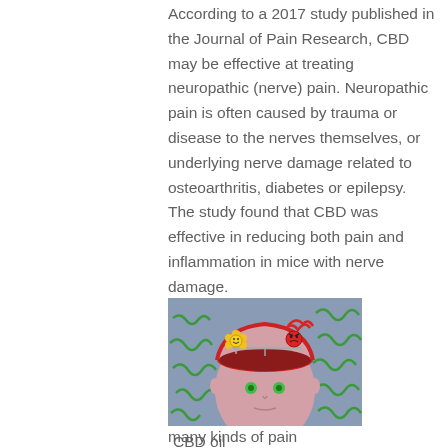According to a 2017 study published in the Journal of Pain Research, CBD may be effective at treating neuropathic (nerve) pain. Neuropathic pain is often caused by trauma or disease to the nerves themselves, or underlying nerve damage related to osteoarthritis, diabetes or epilepsy. The study found that CBD was effective in reducing both pain and inflammation in mice with nerve damage.
[Figure (illustration): Cartoon illustration of a person's head (pink face, green eyes) with the top of the head opened like a lid showing a scale/balance inside the brain. On one side of the scale is a yellow happy face emoji with a yellow flower, on the other side is a red angry face emoji with red scribbles. The background is blue-grey with green squiggly lines resembling nerve/lightning patterns.]
CBD oil can also be used to treat inflam
many kinds of pain